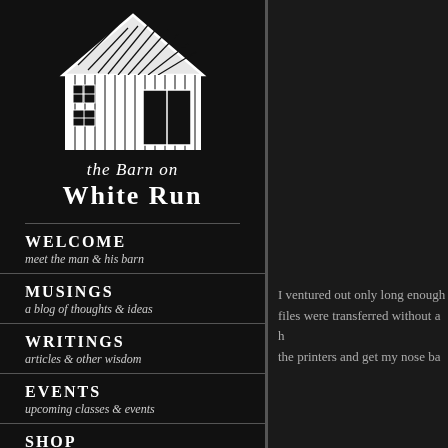[Figure (illustration): White line drawing of a barn building on black background]
the Barn on White Run
WELCOME
meet the man & his barn
MUSINGS
a blog of thoughts & ideas
WRITINGS
articles & other wisdom
EVENTS
upcoming classes & events
SHOP
DVDs, tools & finishing supplies
I ventured out only long enough files were transferred without a h the printers and get my nose ba